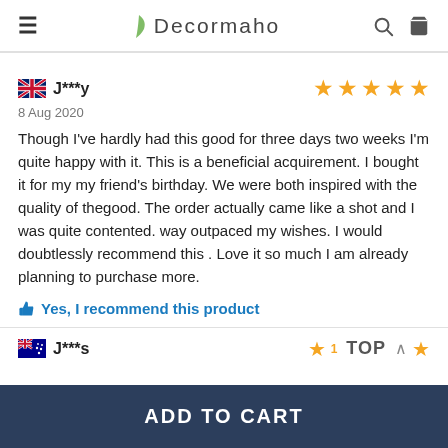Decormaho
J***y — 8 Aug 2020 — 5 stars
Though I've hardly had this good for three days two weeks I'm quite happy with it. This is a beneficial acquirement. I bought it for my my friend's birthday. We were both inspired with the quality of thegood. The order actually came like a shot and I was quite contented. way outpaced my wishes. I would doubtlessly recommend this . Love it so much I am already planning to purchase more.
Yes, I recommend this product
J***s — 1 star
ADD TO CART